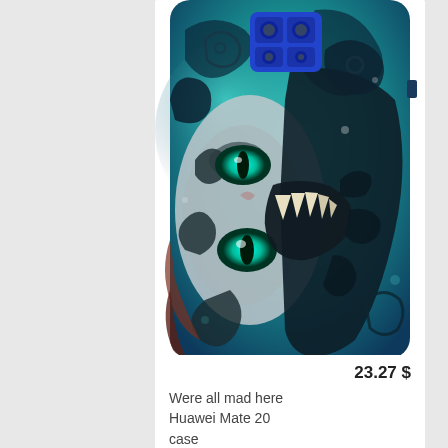[Figure (photo): A Huawei Mate 20 phone case featuring a Cheshire cat illustration in teal and dark tones with glowing eyes and decorative swirling patterns, styled after the 'We're all mad here' Alice in Wonderland theme. The phone case shows the back of the phone with a blue square camera module.]
23.27 $
Were all mad here Huawei Mate 20 case